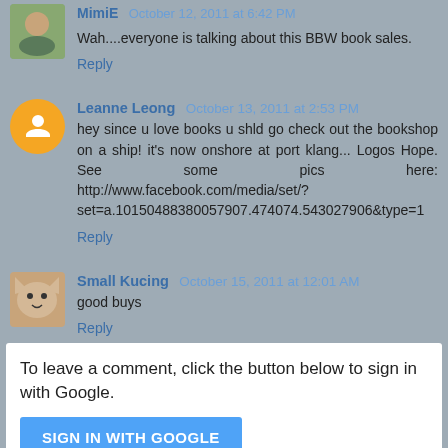Wah....everyone is talking about this BBW book sales.
Reply
Leanne Leong October 13, 2011 at 2:53 PM
hey since u love books u shld go check out the bookshop on a ship! it's now onshore at port klang... Logos Hope. See some pics here: http://www.facebook.com/media/set/?set=a.10150488380057907.474074.543027906&type=1
Reply
Small Kucing October 15, 2011 at 12:01 AM
good buys
Reply
To leave a comment, click the button below to sign in with Google.
SIGN IN WITH GOOGLE